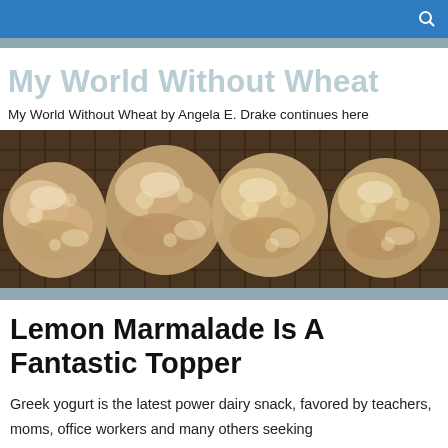My World Without Wheat
My World Without Wheat by Angela E. Drake continues here
[Figure (photo): Overhead photo of oat-based cookies cooling on a wire rack, showing their rough textured surface]
Lemon Marmalade Is A Fantastic Topper
Greek yogurt is the latest power dairy snack, favored by teachers, moms, office workers and many others seeking